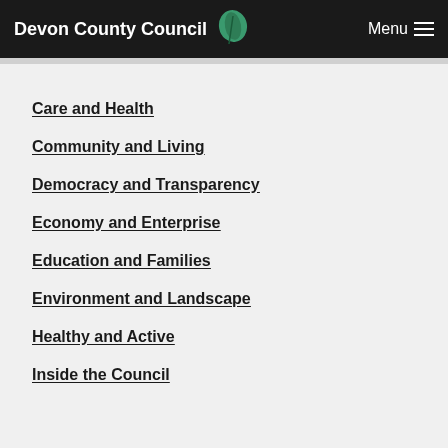Devon County Council  Menu
Care and Health
Community and Living
Democracy and Transparency
Economy and Enterprise
Education and Families
Environment and Landscape
Healthy and Active
Inside the Council